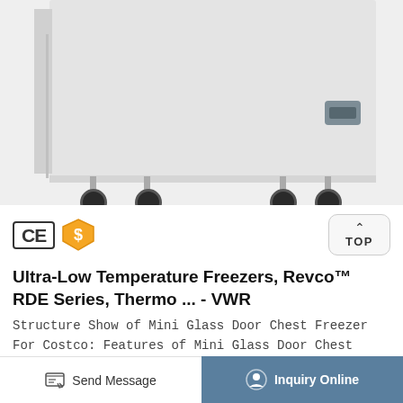[Figure (photo): White chest freezer/refrigerator unit on caster wheels, showing the front and right side. A gray control box is visible on the lower right side panel. The unit rests on four black caster wheels. A vertical bar is visible along the left edge.]
[Figure (logo): CE certification mark badge (black border rectangle with CE letters) and a gold/yellow shield dollar-sign badge, indicating certifications. A 'TOP' button with upward arrow chevron is on the right.]
Ultra-Low Temperature Freezers, Revco™ RDE Series, Thermo ... - VWR
Structure Show of Mini Glass Door Chest Freezer For Costco: Features of Mini Glass Door Chest Freezer For Costco: 1. Over 6.8 cm thickness
Send Message
Inquiry Online